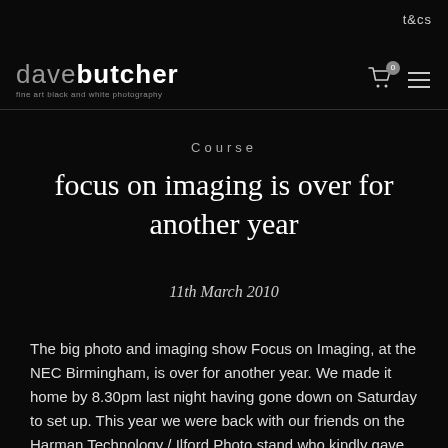t&cs
[Figure (logo): Dave Butcher logo — 'dave' in grey, 'butcher' in white bold, with tagline 'fine art black and white photography']
Course
focus on imaging is over for another year
11th March 2010
The big photo and imaging show Focus on Imaging, at the NEC Birmingham, is over for another year. We made it home by 8.30pm last night having gone down on Saturday to set up. This year we were back with our friends on the Harman Technology / Ilford Photo stand who kindly gave Jan and I